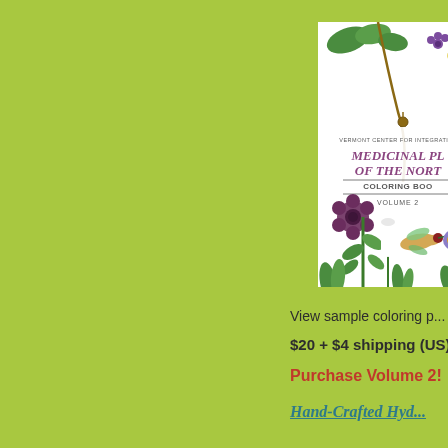[Figure (photo): Book cover of 'Medicinal Plants of the North Coloring Book Volume 2' by Vermont Center for Integrative, featuring botanical illustrations of plants, flowers, a hummingbird, and a butterfly on a white background.]
View sample coloring p...
$20 + $4 shipping (US)
Purchase Volume 2!
Hand-Crafted Hyd...